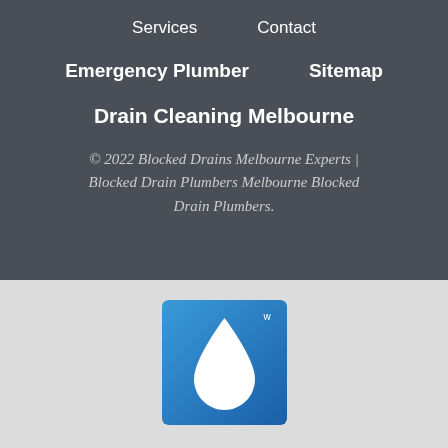Services   Contact
Emergency Plumber   Sitemap
Drain Cleaning Melbourne
© 2022 Blocked Drains Melbourne Experts | Blocked Drain Plumbers Melbourne Blocked Drain Plumbers.
[Figure (logo): Blue square logo with a white water droplet shape in the center, gradient blue background]